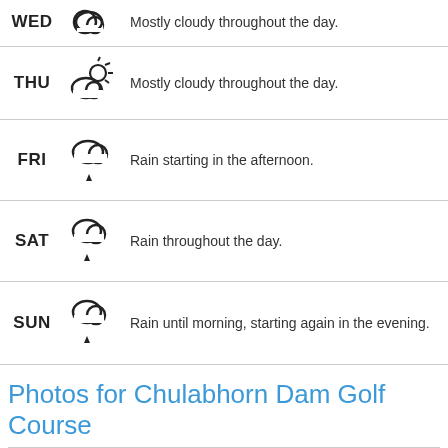WED - Mostly cloudy throughout the day.
THU - Mostly cloudy throughout the day.
FRI - Rain starting in the afternoon.
SAT - Rain throughout the day.
SUN - Rain until morning, starting again in the evening.
Photos for Chulabhorn Dam Golf Course
[Figure (photo): Two photos of Chulabhorn Dam Golf Course showing green hills and trees]